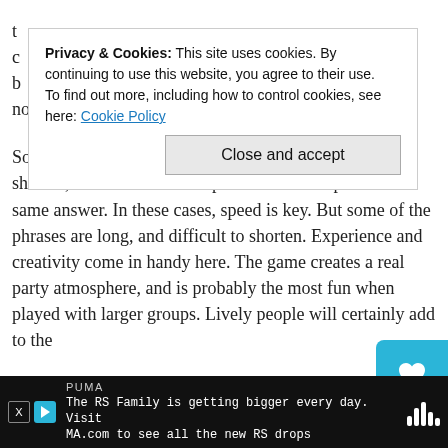t... c... b... no doubt of whose answer is whose.
[Figure (screenshot): Cookie consent banner overlay: 'Privacy & Cookies: This site uses cookies. By continuing to use this website, you agree to their use. To find out more, including how to control cookies, see here: Cookie Policy' with a 'Close and accept' button.]
Some of the phrases and sentences are pretty easy to shorten, and more than one person can end up with the same answer. In these cases, speed is key. But some of the phrases are long, and difficult to shorten. Experience and creativity come in handy here. The game creates a real party atmosphere, and is probably the most fun when played with larger groups. Lively people will certainly add to the
My only complaints about the game are these: Not all of the dr... erase markers work well, but that's a problem with any game tha... inclu... ...erase mar... ...r
[Figure (screenshot): Bottom advertisement bar for PUMA: 'The RS Family is getting bigger every day. Visit MA.com to see all the new RS drops' with X and play button icons and music equalizer bars.]